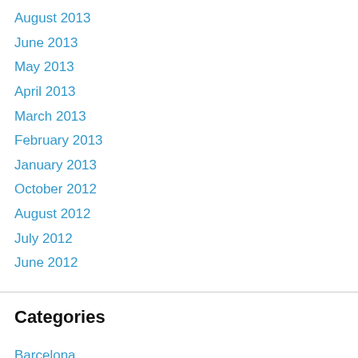August 2013
June 2013
May 2013
April 2013
March 2013
February 2013
January 2013
October 2012
August 2012
July 2012
June 2012
Categories
Barcelona
Books
California
Coffee
Croatia